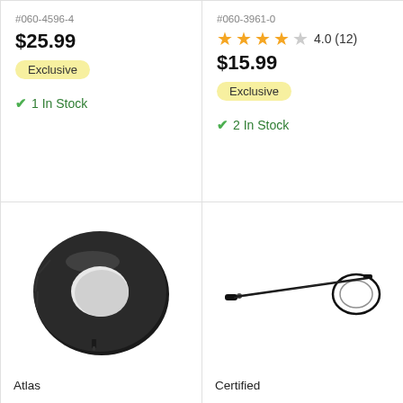#060-4596-4
$25.99
Exclusive
1 In Stock
#060-3961-0
4.0 (12)
$15.99
Exclusive
2 In Stock
[Figure (photo): Black rubber tire inner tube (Atlas brand)]
Atlas
[Figure (photo): Black control cable with metal ends (Certified brand)]
Certified